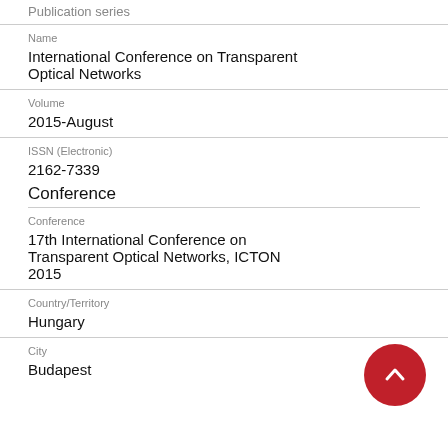Publication series
Name
International Conference on Transparent Optical Networks
Volume
2015-August
ISSN (Electronic)
2162-7339
Conference
Conference
17th International Conference on Transparent Optical Networks, ICTON 2015
Country/Territory
Hungary
City
Budapest